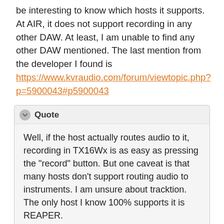be interesting to know which hosts it supports. At AIR, it does not support recording in any other DAW. At least, I am unable to find any other DAW mentioned. The last mention from the developer I found is https://www.kvraudio.com/forum/viewtopic.php?p=5900043#p5900043
Well, if the host actually routes audio to it, recording in TX16Wx is as easy as pressing the "record" button. But one caveat is that many hosts don't support routing audio to instruments. I am unsure about tracktion. The only host I know 100% supports it is REAPER.
That said, there are FX and synth plug-ins when placed in a GL Bundle FX and that can...